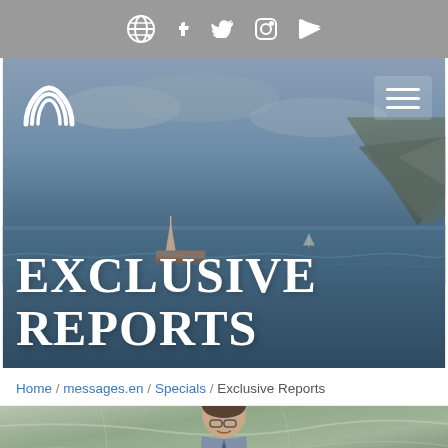Navigation bar with globe, Facebook, Twitter, Instagram, RSS icons
[Figure (photo): Hero banner with ocean/sea background showing a fishing boat and rocky island. White rainbow logo top-left, hamburger menu top-right. Large white bold text reads EXCLUSIVE REPORTS.]
EXCLUSIVE REPORTS
Home / messages.en / Specials / Exclusive Reports
[Figure (photo): Photo of a man in glasses speaking at what appears to be a UN podium, with a marble-patterned background.]